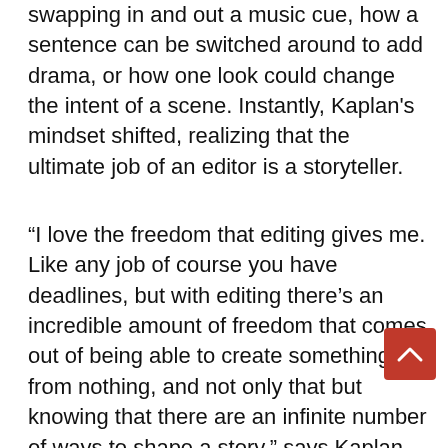swapping in and out a music cue, how a sentence can be switched around to add drama, or how one look could change the intent of a scene. Instantly, Kaplan's mindset shifted, realizing that the ultimate job of an editor is a storyteller.
“I love the freedom that editing gives me. Like any job of course you have deadlines, but with editing there’s an incredible amount of freedom that comes out of being able to create something from nothing, and not only that but knowing that there are an infinite number of ways to shape a story,” says Kaplan. “Editing is like being a chef; someone can hand you a bin of raw ingredients and you’re allowed to create whatever you like out of that bin. I find the entire job fascinating, exciting, and creatively inspiring day in and day out.”